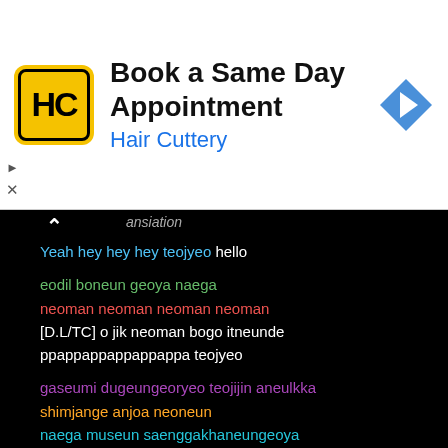[Figure (screenshot): Hair Cuttery advertisement banner: yellow logo with HC, title 'Book a Same Day Appointment', subtitle 'Hair Cuttery', blue navigation arrow icon on the right]
ansiation
Yeah hey hey hey teojyeo hello
eodil boneun geoya naega
neoman neoman neoman neoman
[D.L/TC] o jik neoman bogo itneunde
ppappappappappappa teojyeo
gaseumi dugeungeoryeo teojijin aneulkka
shimjange anjoa neoneun
naega museun saenggakhaneungeoya
I'm falling love
naega cheoeumeuro ppajyeotteon ai
deo gakkai deo dagaga
Wanna feel me now
jebal nae sarangeul badajwo my baby
[TN/KK] dashi saenggak haebwado